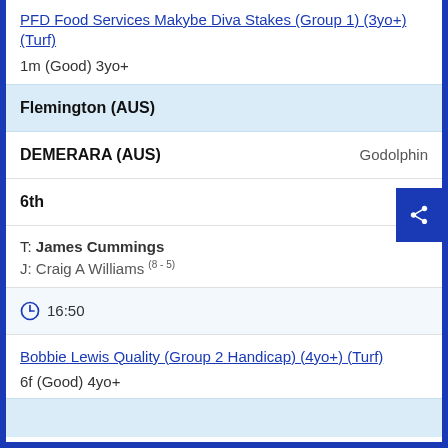PFD Food Services Makybe Diva Stakes (Group 1) (3yo+) (Turf)
1m (Good) 3yo+
Flemington (AUS)
DEMERARA (AUS)   Godolphin
6th
T: James Cummings
J: Craig A Williams (8 - 5)
16:50
Bobbie Lewis Quality (Group 2 Handicap) (4yo+) (Turf)
6f (Good) 4yo+